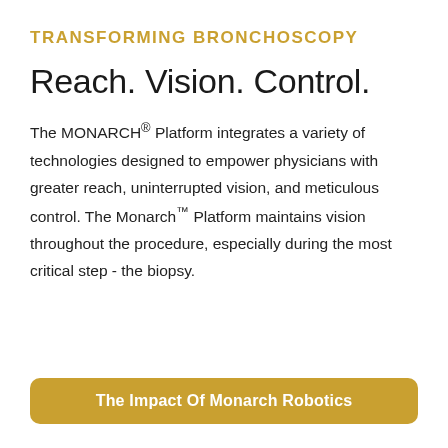TRANSFORMING BRONCHOSCOPY
Reach. Vision. Control.
The MONARCH® Platform integrates a variety of technologies designed to empower physicians with greater reach, uninterrupted vision, and meticulous control. The Monarch™ Platform maintains vision throughout the procedure, especially during the most critical step - the biopsy.
The Impact Of Monarch Robotics